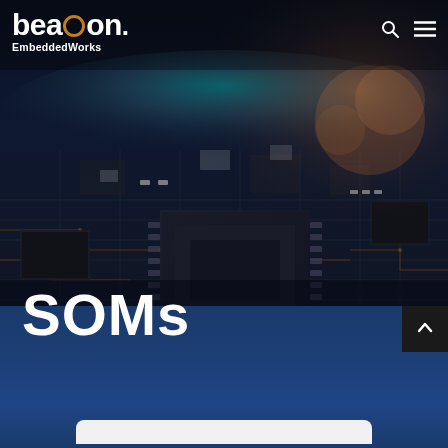[Figure (photo): Close-up photograph of a circuit board with microchips and electronic components, dark blue and copper/brown tones, with glowing horizon light effect at top]
beacon EmbeddedWorks
SOMs